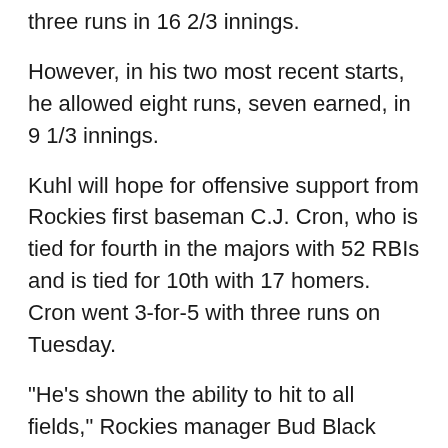three runs in 16 2/3 innings.
However, in his two most recent starts, he allowed eight runs, seven earned, in 9 1/3 innings.
Kuhl will hope for offensive support from Rockies first baseman C.J. Cron, who is tied for fourth in the majors with 52 RBIs and is tied for 10th with 17 homers. Cron went 3-for-5 with three runs on Tuesday.
"He's shown the ability to hit to all fields," Rockies manager Bud Black said. "He's got power. He's doing his part. In some ways, he has carried us."